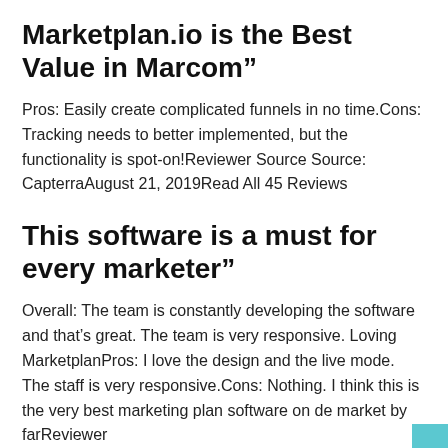Marketplan.io is the Best Value in Marcom”
Pros: Easily create complicated funnels in no time.Cons: Tracking needs to better implemented, but the functionality is spot-on!Reviewer Source Source: CapterraAugust 21, 2019Read All 45 Reviews
This software is a must for every marketer”
Overall: The team is constantly developing the software and that’s great. The team is very responsive. Loving MarketplanPros: I love the design and the live mode. The staff is very responsive.Cons: Nothing. I think this is the very best marketing plan software on de market by farReviewer